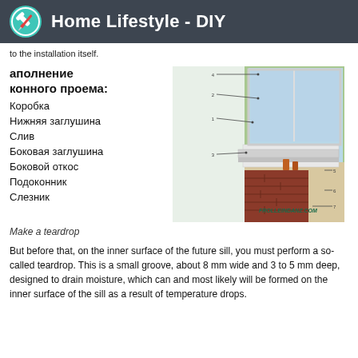Home Lifestyle - DIY
...to the installation itself.
[Figure (illustration): Diagram of window opening components in Russian: заполнение оконного проема with labeled parts (Коробка, Нижняя заглушина, Слив, Боковая заглушина, Боковой откос, Подоконник, Слезник) alongside a cross-section illustration of a window sill installation from frolleindanz.com]
Make a teardrop
But before that, on the inner surface of the future sill, you must perform a so-called teardrop. This is a small groove, about 8 mm wide and 3 to 5 mm deep, designed to drain moisture, which can and most likely will be formed on the inner surface of the sill as a result of temperature drops.